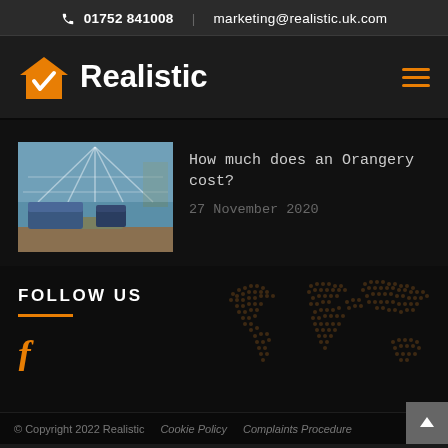📞 01752 841008  |  marketing@realistic.uk.com
[Figure (logo): Realistic company logo with orange house/checkmark icon and white bold text 'Realistic']
[Figure (illustration): Orangery interior photo showing glass roof conservatory with sofa and armchair]
How much does an Orangery cost?
27 November 2020
FOLLOW US
[Figure (illustration): Facebook 'f' social media icon in orange]
[Figure (map): Dotted world map watermark in dark background]
© Copyright 2022 Realistic   Cookie Policy   Complaints Procedure